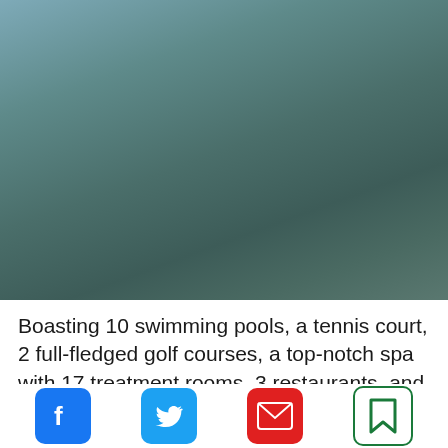[Figure (photo): Blurred outdoor photo with teal/blue-grey gradient sky and greenish-grey landscape, likely a resort or golf course area.]
Boasting 10 swimming pools, a tennis court, 2 full-fledged golf courses, a top-notch spa with 17 treatment rooms, 3 restaurants, and an array of other facilities, the Silverado Resort and Spa is located 6.5 km (4
[Figure (infographic): Social sharing toolbar with Facebook, Twitter, email/envelope, and bookmark icons at the bottom of the page.]